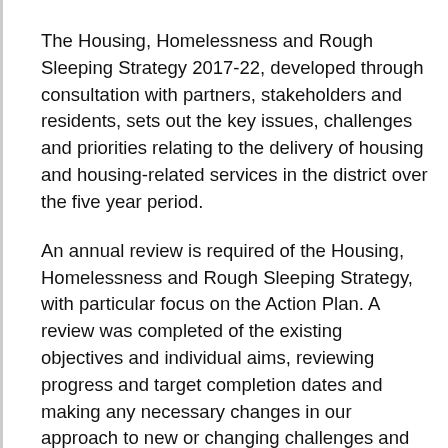The Housing, Homelessness and Rough Sleeping Strategy 2017-22, developed through consultation with partners, stakeholders and residents, sets out the key issues, challenges and priorities relating to the delivery of housing and housing-related services in the district over the five year period.
An annual review is required of the Housing, Homelessness and Rough Sleeping Strategy, with particular focus on the Action Plan. A review was completed of the existing objectives and individual aims, reviewing progress and target completion dates and making any necessary changes in our approach to new or changing challenges and issues we face in the housing and homelessness